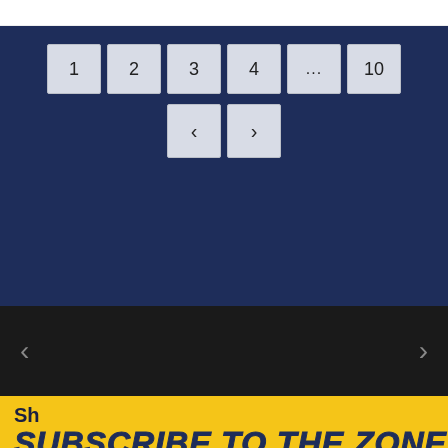[Figure (screenshot): Pagination controls on a navy blue background showing page buttons 1, 2, 3, 4, ..., 10 and previous/next arrow navigation buttons]
[Figure (screenshot): Dark section with left and right navigation arrow buttons]
Sh
SUBSCRIBE TO THE ZONE
BREWERS RADIO NETWORK SCHEDULE